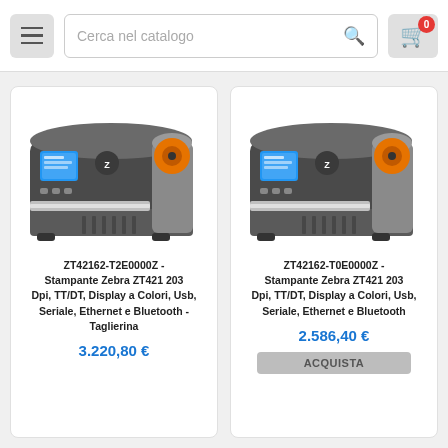Cerca nel catalogo
[Figure (photo): Zebra ZT421 industrial label printer with color display, dark gray and silver body, orange media roll visible from top]
ZT42162-T2E0000Z - Stampante Zebra ZT421 203 Dpi, TT/DT, Display a Colori, Usb, Seriale, Ethernet e Bluetooth - Taglierina
3.220,80 €
[Figure (photo): Zebra ZT421 industrial label printer with color display, dark gray and silver body, orange media roll visible from top]
ZT42162-T0E0000Z - Stampante Zebra ZT421 203 Dpi, TT/DT, Display a Colori, Usb, Seriale, Ethernet e Bluetooth
2.586,40 €
ACQUISTA